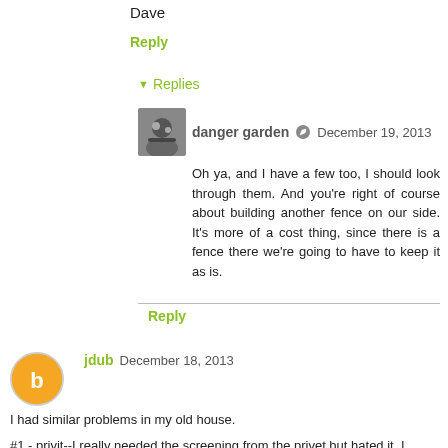Dave
Reply
Replies
danger garden  December 19, 2013
Oh ya, and I have a few too, I should look through them. And you're right of course about building another fence on our side. It's more of a cost thing, since there is a fence there we're going to have to keep it as is.
Reply
jdub  December 18, 2013
I had similar problems in my old house.
#1 - privit--I really needed the screening from the privet but hated it. I gradually pruned it up as a tree so all that big bulk was gone next to the fence but it still left me some